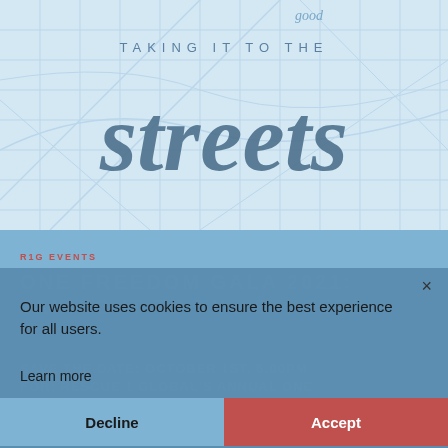[Figure (illustration): Hero banner with light blue street map grid background and brushstroke text reading 'TAKING IT TO THE streets' with a handwritten 'good' above]
R1G EVENTS
ONE FREEDOM GALA 2021: TAKING IT TO THE STREETS
SAVE THE DATE: OCTOBER 1ST, 6:00PM FOR: RESCUE 1 GLOBAL'S ANNUAL ONE FREEDOM GALA We are so grateful for your committed and continued
Our website uses cookies to ensure the best experience for all users.
Learn more
Decline
Accept